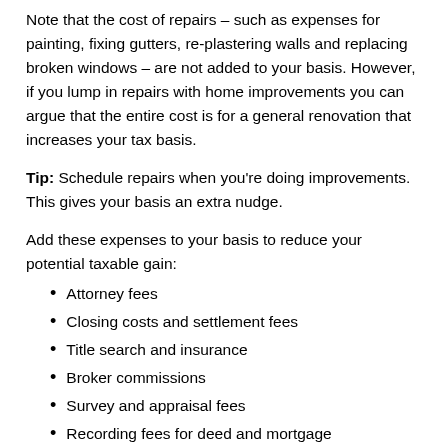Note that the cost of repairs – such as expenses for painting, fixing gutters, re-plastering walls and replacing broken windows – are not added to your basis. However, if you lump in repairs with home improvements you can argue that the entire cost is for a general renovation that increases your tax basis.
Tip: Schedule repairs when you're doing improvements. This gives your basis an extra nudge.
Add these expenses to your basis to reduce your potential taxable gain:
Attorney fees
Closing costs and settlement fees
Title search and insurance
Broker commissions
Survey and appraisal fees
Recording fees for deed and mortgage